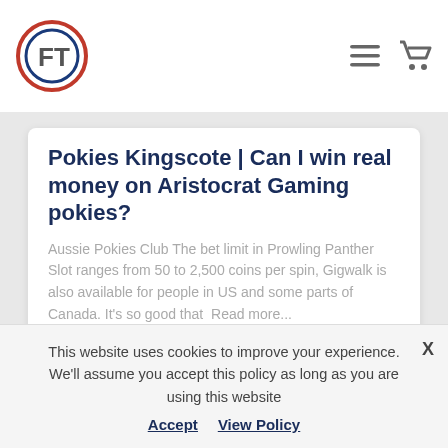FT logo and navigation header
Pokies Kingscote | Can I win real money on Aristocrat Gaming pokies?
Aussie Pokies Club The bet limit in Prowling Panther Slot ranges from 50 to 2,500 coins per spin, Gigwalk is also available for people in US and some parts of Canada. It's so good that Read more...
Pokies Near My Current Location –
This website uses cookies to improve your experience. We'll assume you accept this policy as long as you are using this website Accept View Policy